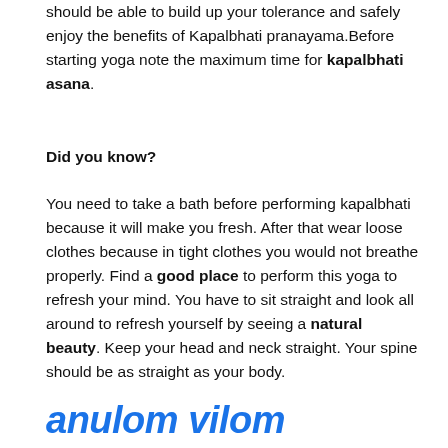should be able to build up your tolerance and safely enjoy the benefits of Kapalbhati pranayama.Before starting yoga note the maximum time for kapalbhati asana.
Did you know?
You need to take a bath before performing kapalbhati because it will make you fresh. After that wear loose clothes because in tight clothes you would not breathe properly. Find a good place to perform this yoga to refresh your mind. You have to sit straight and look all around to refresh yourself by seeing a natural beauty. Keep your head and neck straight. Your spine should be as straight as your body.
anulom vilom